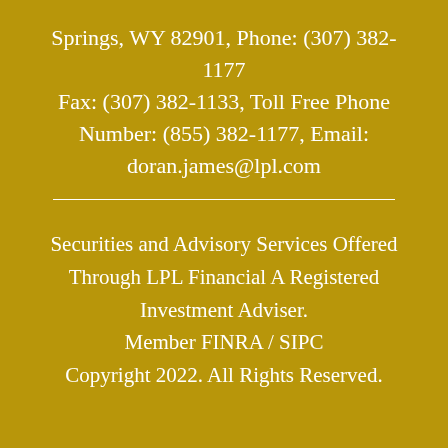Springs, WY 82901, Phone: (307) 382-1177
Fax: (307) 382-1133, Toll Free Phone Number: (855) 382-1177, Email: doran.james@lpl.com
Securities and Advisory Services Offered Through LPL Financial A Registered Investment Adviser. Member FINRA / SIPC
Copyright 2022. All Rights Reserved.